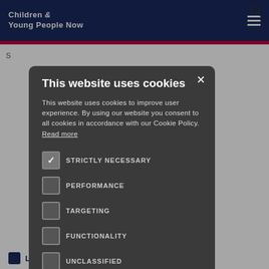Children & Young People Now
This website uses cookies
This website uses cookies to improve user experience. By using our website you consent to all cookies in accordance with our Cookie Policy. Read more
STRICTLY NECESSARY
PERFORMANCE
TARGETING
FUNCTIONALITY
UNCLASSIFIED
ACCEPT ALL
DECLINE ALL
SHOW DETAILS
Latest online articles